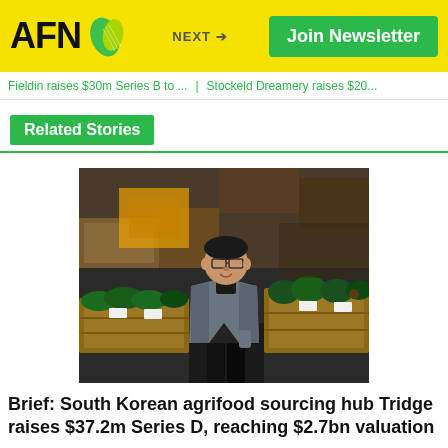AFN
Fieldin raises $30m Series B to ... | Stockeld Dreamery raises $20...
Related Stories
[Figure (photo): Man in grey blazer standing in front of crates of green vegetables/watermelons in a warehouse or market setting]
Brief: South Korean agrifood sourcing hub Tridge raises $37.2m Series D, reaching $2.7bn valuation